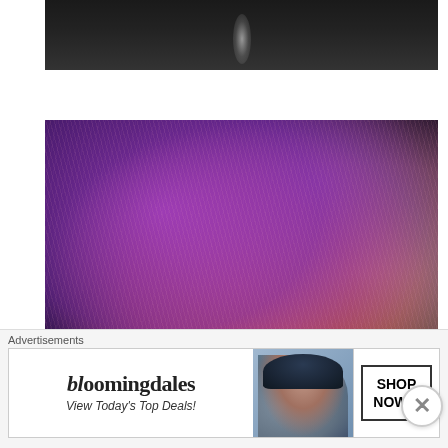[Figure (photo): Partial view of a microphone or smoke rising against a dark background — top portion of a concert or performance scene]
[Figure (photo): Close-up photo of an elderly person's head with white/silver hair illuminated by purple and red/orange stage lighting against a black background]
Advertisements
[Figure (illustration): Bloomingdale's advertisement banner: logo text 'bloomingdales', tagline 'View Today's Top Deals!', image of woman in large hat, and 'SHOP NOW >' call-to-action button]